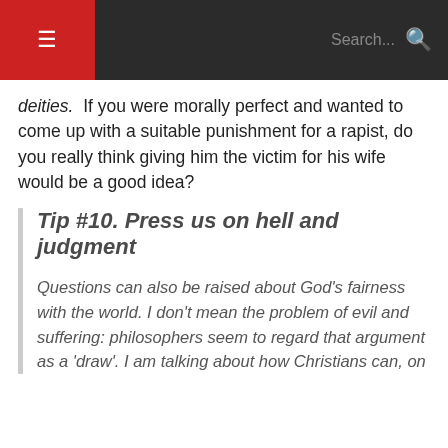☰  Search...  🔍
deities.  If you were morally perfect and wanted to come up with a suitable punishment for a rapist, do you really think giving him the victim for his wife would be a good idea?
Tip #10. Press us on hell and judgment
Questions can also be raised about God's fairness with the world. I don't mean the problem of evil and suffering: philosophers seem to regard that argument as a 'draw'. I am talking about how Christians can, on